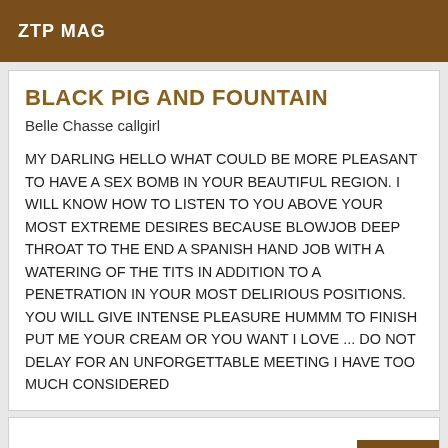ZTP MAG
BLACK PIG AND FOUNTAIN
Belle Chasse callgirl
MY DARLING HELLO WHAT COULD BE MORE PLEASANT TO HAVE A SEX BOMB IN YOUR BEAUTIFUL REGION. I WILL KNOW HOW TO LISTEN TO YOU ABOVE YOUR MOST EXTREME DESIRES BECAUSE BLOWJOB DEEP THROAT TO THE END A SPANISH HAND JOB WITH A WATERING OF THE TITS IN ADDITION TO A PENETRATION IN YOUR MOST DELIRIOUS POSITIONS. YOU WILL GIVE INTENSE PLEASURE HUMMM TO FINISH PUT ME YOUR CREAM OR YOU WANT I LOVE ... DO NOT DELAY FOR AN UNFORGETTABLE MEETING I HAVE TOO MUCH CONSIDERED
Online